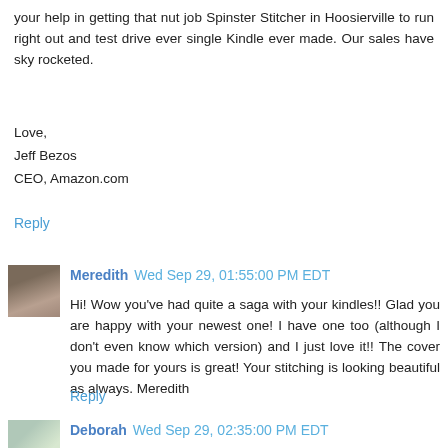your help in getting that nut job Spinster Stitcher in Hoosierville to run right out and test drive ever single Kindle ever made. Our sales have sky rocketed.
Love,
Jeff Bezos
CEO, Amazon.com
Reply
Meredith Wed Sep 29, 01:55:00 PM EDT
Hi! Wow you've had quite a saga with your kindles!! Glad you are happy with your newest one! I have one too (although I don't even know which version) and I just love it!! The cover you made for yours is great! Your stitching is looking beautiful as always. Meredith
Reply
Deborah Wed Sep 29, 02:35:00 PM EDT
Glad that you finally found the Kindle of your dreams. I got